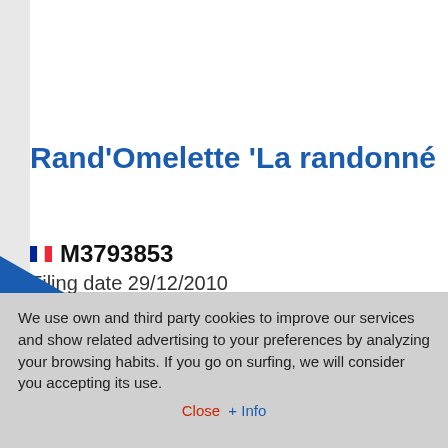Rand'Omelette 'La randonné
M3793853
Filing date 29/12/2010
We use own and third party cookies to improve our services and show related advertising to your preferences by analyzing your browsing habits. If you go on surfing, we will consider you accepting its use.
Close  + Info